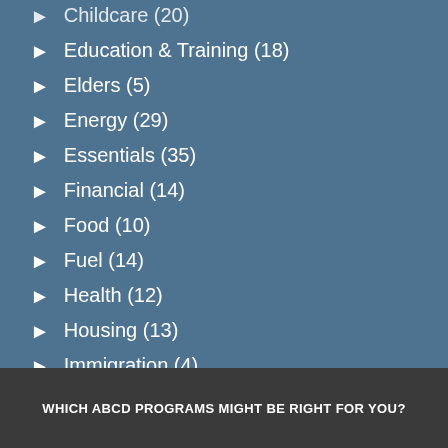Childcare (20)
Education & Training (18)
Elders (5)
Energy (29)
Essentials (35)
Financial (14)
Food (10)
Fuel (14)
Health (12)
Housing (13)
Immigration (4)
Youth (46)
WHICH ABCD PROGRAMS MIGHT BE RIGHT FOR YOU?